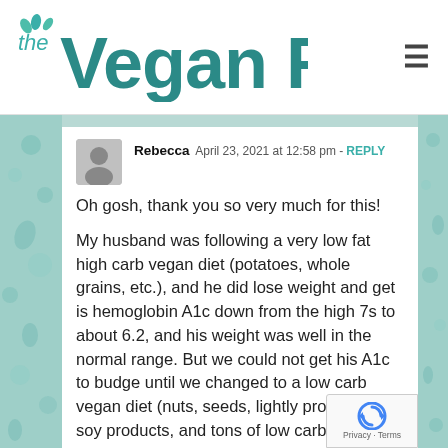the Vegan RD
Rebecca  April 23, 2021 at 12:58 pm - REPLY

Oh gosh, thank you so very much for this!

My husband was following a very low fat high carb vegan diet (potatoes, whole grains, etc.), and he did lose weight and get is hemoglobin A1c down from the high 7s to about 6.2, and his weight was well in the normal range. But we could not get his A1c to budge until we changed to a low carb vegan diet (nuts, seeds, lightly processed soy products, and tons of low carb vegetables). Within about 8 weeks his A1c was down to 5.6! He feels better, his appetite has lessened, he doesn't snack as